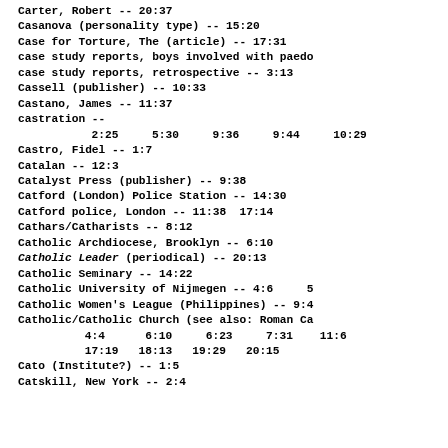Carter, Robert -- 20:37
Casanova (personality type) -- 15:20
Case for Torture, The (article) -- 17:31
case study reports, boys involved with paedo
case study reports, retrospective -- 3:13
Cassell (publisher) -- 10:33
Castano, James -- 11:37
castration --
     2:25     5:30     9:36     9:44     10:29
Castro, Fidel -- 1:7
Catalan -- 12:3
Catalyst Press (publisher) -- 9:38
Catford (London) Police Station -- 14:30
Catford police, London -- 11:38  17:14
Cathars/Catharists -- 8:12
Catholic Archdiocese, Brooklyn -- 6:10
Catholic Leader (periodical) -- 20:13
Catholic Seminary -- 14:22
Catholic University of Nijmegen -- 4:6     5
Catholic Women's League (Philippines) -- 9:4
Catholic/Catholic Church (see also: Roman Ca
     4:4     6:10     6:23     7:31    11:6
     17:19    18:13    19:29    20:15
Cato (Institute?) -- 1:5
Catskill, New York -- 2:4